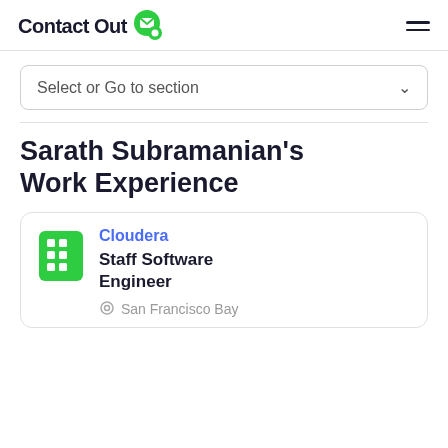ContactOut
Select or Go to section
Sarath Subramanian's Work Experience
Cloudera
Staff Software Engineer
San Francisco Bay